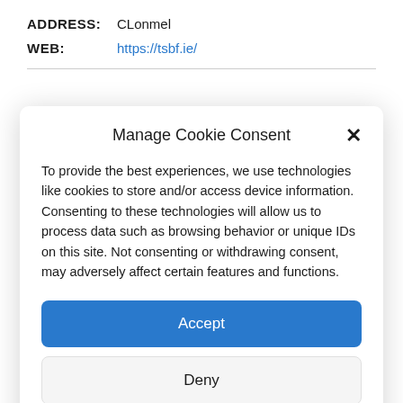ADDRESS: CLonmel
WEB: https://tsbf.ie/
Manage Cookie Consent
To provide the best experiences, we use technologies like cookies to store and/or access device information. Consenting to these technologies will allow us to process data such as browsing behavior or unique IDs on this site. Not consenting or withdrawing consent, may adversely affect certain features and functions.
Accept
Deny
View preferences